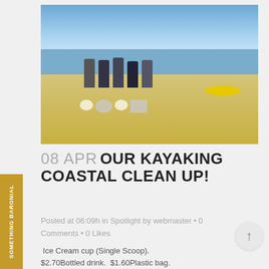[Figure (photo): Group of five people in life jackets standing on a sandy beach with several large white garbage bags in front of them and a yellow kayak in the background near the water's edge. Blue sky with clouds overhead.]
08 APR OUR KAYAKING COASTAL CLEAN UP!
Posted at 06:09h in Spotlight by webmaster • 0 Comments • 0 Likes
Ice Cream cup (Single Scoop). $2.70Bottled drink. $1.60Plastic bag. $1.00Rubber...